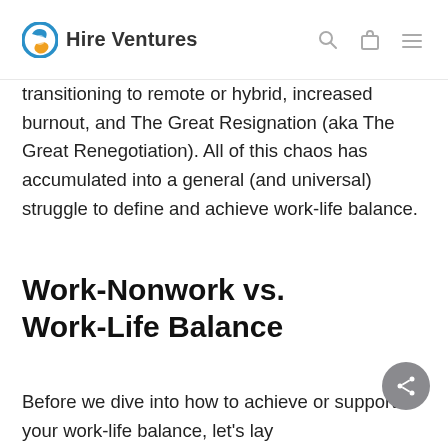Hire Ventures
transitioning to remote or hybrid, increased burnout, and The Great Resignation (aka The Great Renegotiation). All of this chaos has accumulated into a general (and universal) struggle to define and achieve work-life balance.
Work-Nonwork vs. Work-Life Balance
Before we dive into how to achieve or support your work-life balance, let's lay